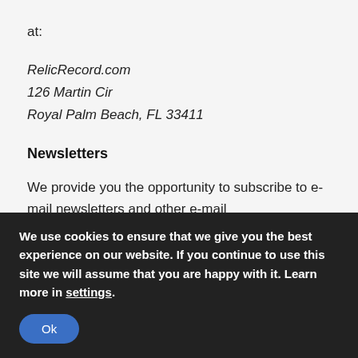at:
RelicRecord.com
126 Martin Cir
Royal Palm Beach, FL 33411
Newsletters
We provide you the opportunity to subscribe to e-mail newsletters and other e-mail communications. You may unsubscribe by following the instructions provided in each e-mail newsletter or emailing us at will@relicrecord.com.
Contests and Surveys
We use cookies to ensure that we give you the best experience on our website. If you continue to use this site we will assume that you are happy with it. Learn more in settings.